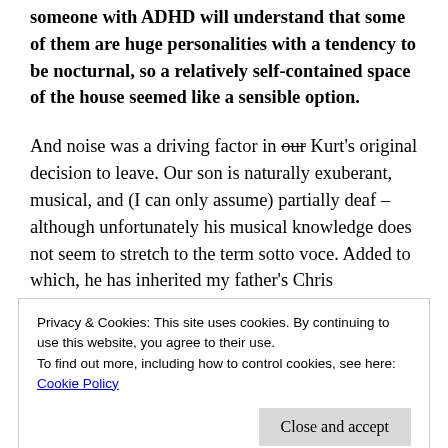someone with ADHD will understand that some of them are huge personalities with a tendency to be nocturnal, so a relatively self-contained space of the house seemed like a sensible option.
And noise was a driving factor in our [strikethrough] Kurt's original decision to leave. Our son is naturally exuberant, musical, and (I can only assume) partially deaf – although unfortunately his musical knowledge does not seem to stretch to the term sotto voce. Added to which, he has inherited my father's Chris Hemsworth baritone voice that gets louder whenever he is excited – which is
Privacy & Cookies: This site uses cookies. By continuing to use this website, you agree to their use.
To find out more, including how to control cookies, see here:
Cookie Policy
Close and accept
for the neighbourhood kids should be restricted.